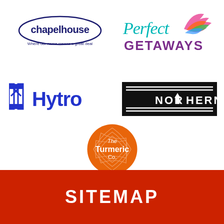[Figure (logo): Chapelhouse logo - oval border with text 'chapelhouse' and tagline 'Where our name means a great deal']
[Figure (logo): Perfect Getaways logo - stylized script text with colorful bird/wing graphic]
[Figure (logo): Hytro logo - blue stylized H icon and bold blue text 'Hytro']
[Figure (logo): Northern logo - black banner with white text 'NORTHERN' and decorative lines, upward arrow in T]
[Figure (logo): The Turmeric Co. logo - orange circle with white text and geometric pattern]
SITEMAP